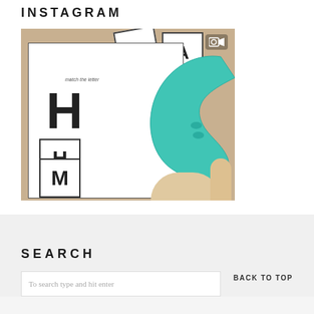INSTAGRAM
[Figure (photo): Instagram photo showing educational letter-matching flashcards with letters H, M, B, A, and a teal plastic tool/pointer held by a hand. Cards show 'match the letter' activity.]
SEARCH
To search type and hit enter
BACK TO TOP